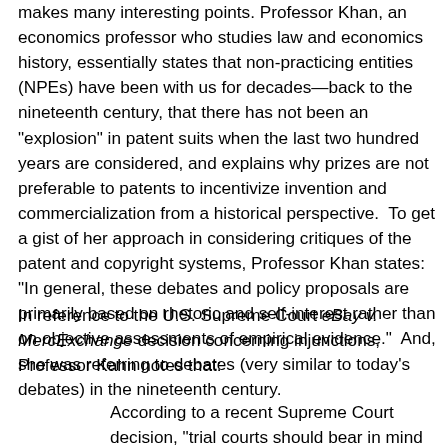makes many interesting points. Professor Khan, an economics professor who studies law and economics history, essentially states that non-practicing entities (NPEs) have been with us for decades—back to the nineteenth century, that there has not been an "explosion" in patent suits when the last two hundred years are considered, and explains why prizes are not preferable to patents to incentivize invention and commercialization from a historical perspective. To get a gist of her approach in considering critiques of the patent and copyright systems, Professor Khan states: "In general, these debates and policy proposals are primarily based on rhetoric and self-interest rather than on objective assessments of empirical evidence." And, she was referring to debates (very similar to today's debates) in the nineteenth century.
In reference to the U.S. Supreme Court eBay v. MercExchange decision concerning injunctions, Professor Kahn notes that:
According to a recent Supreme Court decision, "trial courts should bear in mind that in many